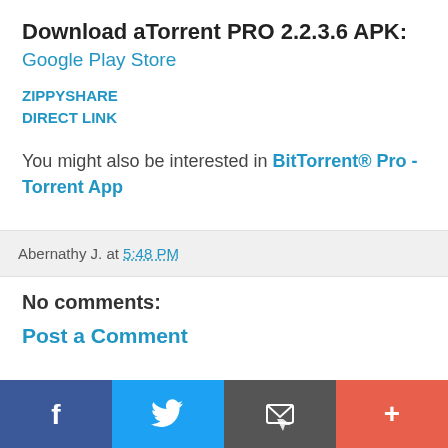Download aTorrent PRO 2.2.3.6 APK:
Google Play Store
ZIPPYSHARE
DIRECT LINK
You might also be interested in BitTorrent® Pro - Torrent App
Abernathy J. at 5:48 PM
No comments:
Post a Comment